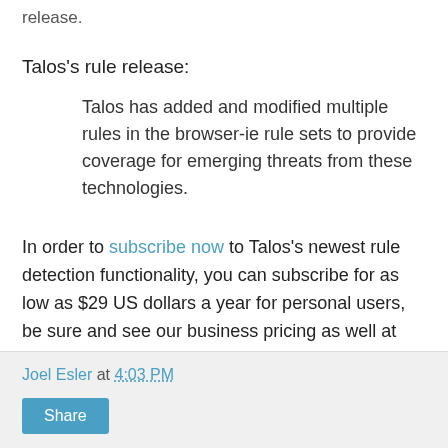release.
Talos's rule release:
Talos has added and modified multiple rules in the browser-ie rule sets to provide coverage for emerging threats from these technologies.
In order to subscribe now to Talos's newest rule detection functionality, you can subscribe for as low as $29 US dollars a year for personal users, be sure and see our business pricing as well at https://snort.org/products#rule_subscriptions. Make sure and stay up to date to catch the most emerging threats!
Joel Esler at 4:03 PM
Share